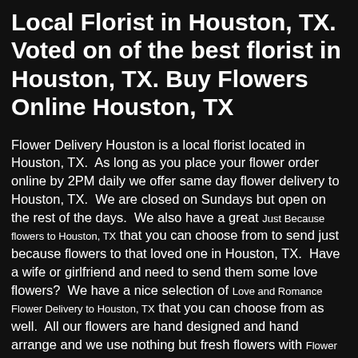Local Florist in Houston, TX. Voted on of the best florist in Houston, TX. Buy Flowers Online Houston, TX
Flower Delivery Houston is a local florist located in Houston, TX.  As long as you place your flower order online by 2PM daily we offer same day flower delivery to Houston, TX.  We are closed on Sundays but open on the rest of the days.  We also have a great Just Because flowers to Houston, TX that you can choose from to send just because flowers to that loved one in Houston, TX.  Have a wife or girlfriend and need to send them some love flowers?  We have a nice selection of Love and Romance Flower Delivery to Houston, TX that you can choose from as well.  All our flowers are hand designed and hand arrange and we use nothing but fresh flowers with Flower Delivery to Houston, TX.  We also offer a wide selection of new baby